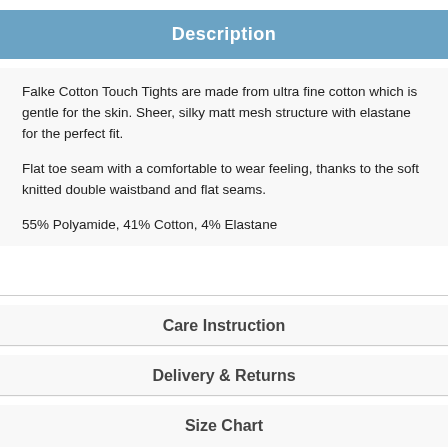Description
Falke Cotton Touch Tights are made from ultra fine cotton which is gentle for the skin. Sheer, silky matt mesh structure with elastane for the perfect fit.
Flat toe seam with a comfortable to wear feeling, thanks to the soft knitted double waistband and flat seams.
55% Polyamide, 41% Cotton, 4% Elastane
Care Instruction
Delivery & Returns
Size Chart